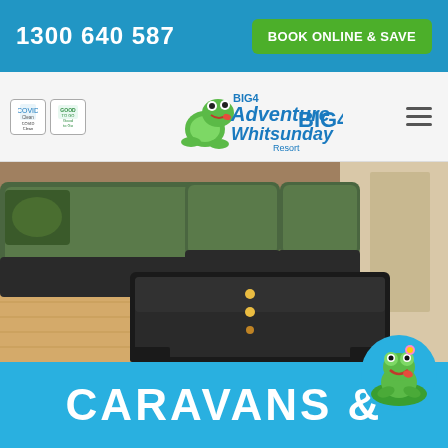1300 640 587   BOOK ONLINE & SAVE
[Figure (logo): BIG4 Adventure Whitsunday Resort logo with frog character and BIG4 brand mark]
[Figure (photo): Interior living area with green sectional sofa, wicker coffee table with glass top, and hardwood floor]
CARAVANS &